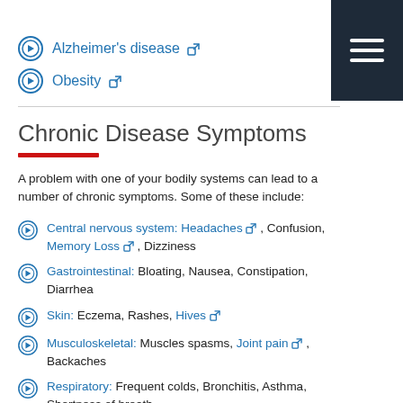Alzheimer's disease ↗
Obesity ↗
Chronic Disease Symptoms
A problem with one of your bodily systems can lead to a number of chronic symptoms. Some of these include:
Central nervous system: Headaches ↗ , Confusion, Memory Loss ↗ , Dizziness
Gastrointestinal: Bloating, Nausea, Constipation, Diarrhea
Skin: Eczema, Rashes, Hives ↗
Musculoskeletal: Muscles spasms, Joint pain ↗ , Backaches
Respiratory: Frequent colds, Bronchitis, Asthma, Shortness of breath